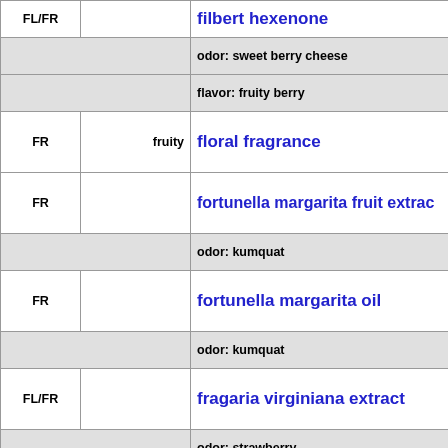| Code | Flavor | Name/Description |
| --- | --- | --- |
| FL/FR |  | filbert hexenone |
|  |  | odor: sweet berry cheese |
|  |  | flavor: fruity berry |
| FR | fruity | floral fragrance |
| FR |  | fortunella margarita fruit extract |
|  |  | odor: kumquat |
| FR |  | fortunella margarita oil |
|  |  | odor: kumquat |
| FL/FR |  | fragaria virginiana extract |
|  |  | odor: strawberry |
|  |  | flavor: strawberry |
| FR |  | fruit cocktail fragrance |
| FR |  | fruit fragrance |
| FR |  | fruit specialty |